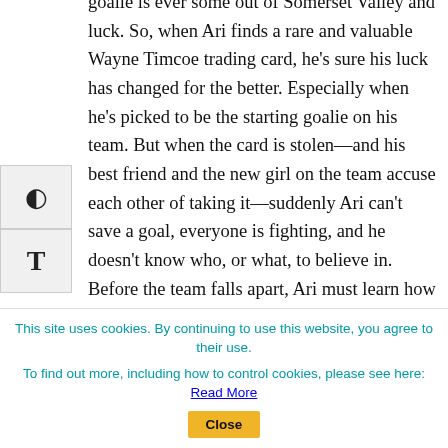goalie is ever some out of Somerset Valley and luck. So, when Ari finds a rare and valuable Wayne Timcoe trading card, he's sure his luck has changed for the better. Especially when he's picked to be the starting goalie on his team. But when the card is stolen—and his best friend and the new girl on the team accuse each other of taking it—suddenly Ari can't save a goal, everyone is fighting, and he doesn't know who, or what, to believe in. Before the team falls apart, Ari must learn how to make his own luck—and figure out what it truly means
This site uses cookies. By continuing to use this website, you agree to their use.
To find out more, including how to control cookies, please see here: Read More